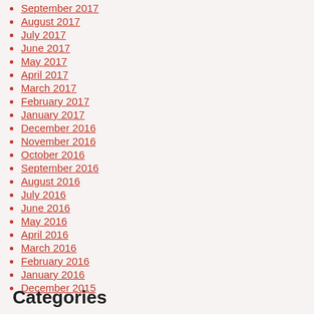September 2017
August 2017
July 2017
June 2017
May 2017
April 2017
March 2017
February 2017
January 2017
December 2016
November 2016
October 2016
September 2016
August 2016
July 2016
June 2016
May 2016
April 2016
March 2016
February 2016
January 2016
December 2015
Categories